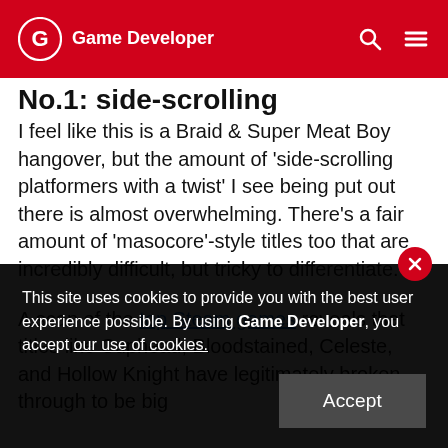Game Developer
No.1: side-scrolling platformers
I feel like this is a Braid & Super Meat Boy hangover, but the amount of 'side-scrolling platformers with a twist' I see being put out there is almost overwhelming. There's a fair amount of 'masocore'-style titles too that are incredibly difficult, but tricky to differentiate.
A scan of the top Steam games reveals that titles like Cuphead, Bloodstained, Celeste, and Hollow Knight have legitimately broken through to be big
This site uses cookies to provide you with the best user experience possible. By using Game Developer, you accept our use of cookies.